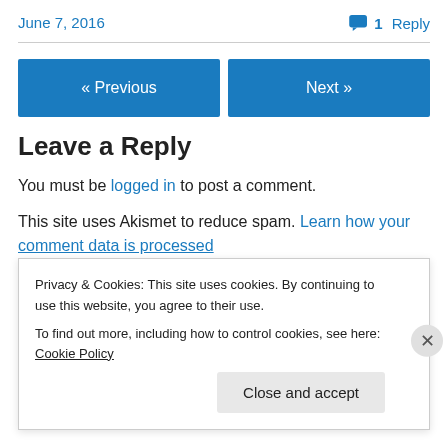June 7, 2016
1 Reply
« Previous
Next »
Leave a Reply
You must be logged in to post a comment.
This site uses Akismet to reduce spam. Learn how your comment data is processed
Privacy & Cookies: This site uses cookies. By continuing to use this website, you agree to their use.
To find out more, including how to control cookies, see here: Cookie Policy